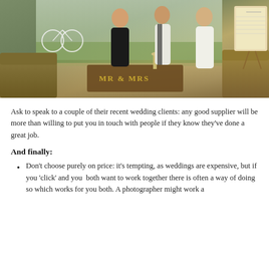[Figure (photo): Indoor wedding fair or venue scene with three women standing near a rustic wooden coffee table with 'MR & MRS' golden letters. Vintage sofas visible, a bicycle outdoors through window, and a seating chart board in background.]
Ask to speak to a couple of their recent wedding clients: any good supplier will be more than willing to put you in touch with people if they know they've done a great job.
And finally:
Don't choose purely on price: it's tempting, as weddings are expensive, but if you 'click' and you  both want to work together there is often a way of doing so which works for you both. A photographer might work a